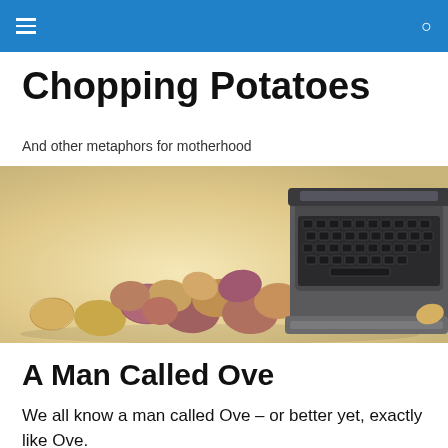≡  🔍
Chopping Potatoes
And other metaphors for motherhood
[Figure (photo): A row of various small potatoes arranged on a light surface next to a vintage black typewriter, photographed from the side.]
A Man Called Ove
We all know a man called Ove – or better yet, exactly like Ove.
A crotchety old man. The neighborhood watchdog policing